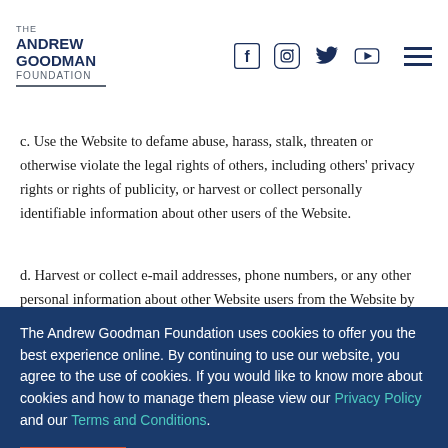The Andrew Goodman Foundation
c. Use the Website to defame abuse, harass, stalk, threaten or otherwise violate the legal rights of others, including others' privacy rights or rights of publicity, or harvest or collect personally identifiable information about other users of the Website.
d. Harvest or collect e-mail addresses, phone numbers, or any other personal information about other Website users from the Website by
The Andrew Goodman Foundation uses cookies to offer you the best experience online. By continuing to use our website, you agree to the use of cookies. If you would like to know more about cookies and how to manage them please view our Privacy Policy and our Terms and Conditions.
CLOSE